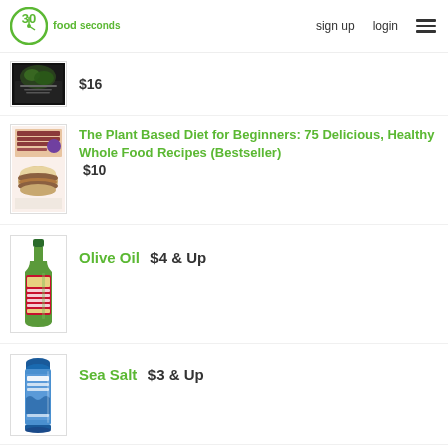30 seconds food  sign up  login
$16
The Plant Based Diet for Beginners: 75 Delicious, Healthy Whole Food Recipes (Bestseller)  $10
Olive Oil  $4 & Up
Sea Salt  $3 & Up